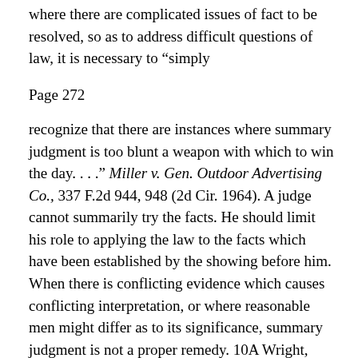where there are complicated issues of fact to be resolved, so as to address difficult questions of law, it is necessary to “simply
Page 272
recognize that there are instances where summary judgment is too blunt a weapon with which to win the day. . . .” Miller v. Gen. Outdoor Advertising Co., 337 F.2d 944, 948 (2d Cir. 1964). A judge cannot summarily try the facts. He should limit his role to applying the law to the facts which have been established by the showing before him. When there is conflicting evidence which causes conflicting interpretation, or where reasonable men might differ as to its significance, summary judgment is not a proper remedy. 10A Wright, Miller Kane, Federal Practice and Procedure § 2725, at 100–99 (1998).[1a]